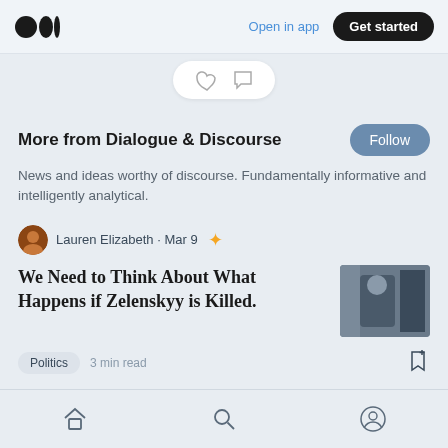Open in app  Get started
More from Dialogue & Discourse
News and ideas worthy of discourse. Fundamentally informative and intelligently analytical.
Lauren Elizabeth · Mar 9 ✦
We Need to Think About What Happens if Zelenskyy is Killed.
Politics  3 min read
Home  Search  Profile